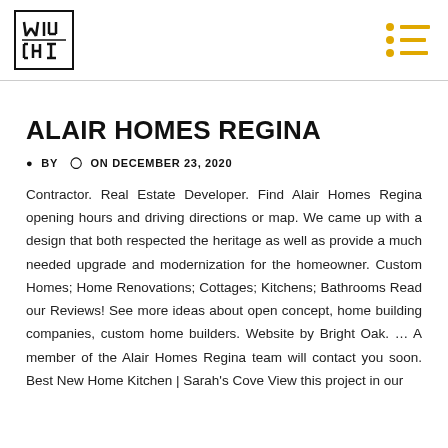[Figure (logo): Will Chin logo — black outlined square with stylized text/geometric letterform inside]
ALAIR HOMES REGINA
BY  ON DECEMBER 23, 2020
Contractor. Real Estate Developer. Find Alair Homes Regina opening hours and driving directions or map. We came up with a design that both respected the heritage as well as provide a much needed upgrade and modernization for the homeowner. Custom Homes; Home Renovations; Cottages; Kitchens; Bathrooms Read our Reviews! See more ideas about open concept, home building companies, custom home builders. Website by Bright Oak. … A member of the Alair Homes Regina team will contact you soon. Best New Home Kitchen | Sarah's Cove View this project in our